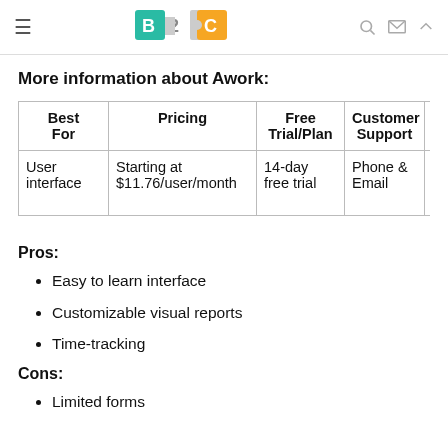B2C [logo]
More information about Awork:
| Best For | Pricing | Free Trial/Plan | Customer Support | Mob App |
| --- | --- | --- | --- | --- |
| User interface | Starting at $11.76/user/month | 14-day free trial | Phone & Email | Andr & IO |
Pros:
Easy to learn interface
Customizable visual reports
Time-tracking
Cons:
Limited forms